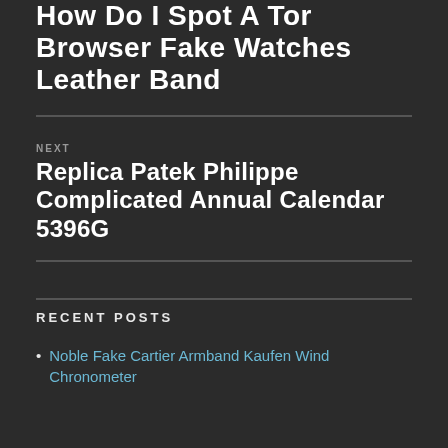How Do I Spot A Tor Browser Fake Watches Leather Band
NEXT
Replica Patek Philippe Complicated Annual Calendar 5396G
RECENT POSTS
Noble Fake Cartier Armband Kaufen Wind Chronometer